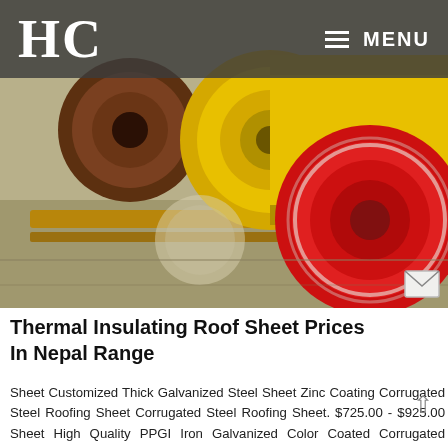HC  MENU
[Figure (photo): Large rolls of colored coated steel sheets (brown, yellow, red) on wooden pallets on a factory floor]
Thermal Insulating Roof Sheet Prices In Nepal Range
Sheet Customized Thick Galvanized Steel Sheet Zinc Coating Corrugated Steel Roofing Sheet Corrugated Steel Roofing Sheet. $725.00 - $925.00 Sheet High Quality PPGI Iron Galvanized Color Coated Corrugated Roofing Sheet. $650.00 - $1,500.00.